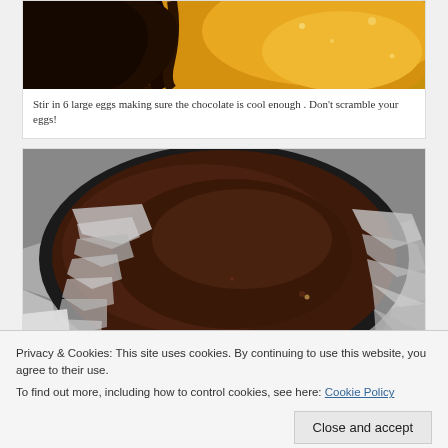[Figure (photo): Close-up photo of chocolate being stirred into eggs in a bowl, with yellow/golden egg mixture visible]
Stir in 6 large eggs making sure the chocolate is cool enough . Don't scramble your eggs!
[Figure (photo): Chocolate batter in a round springform pan lined with aluminum foil, dark rich chocolate mixture filling the pan]
Privacy & Cookies: This site uses cookies. By continuing to use this website, you agree to their use.
To find out more, including how to control cookies, see here: Cookie Policy
Close and accept